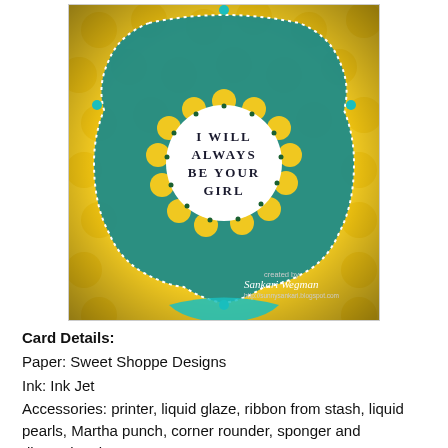[Figure (photo): A handmade craft card with teal/turquoise decorative bracket shape on a yellow patterned background. In the center is a white circle with scalloped yellow border reading 'I WILL ALWAYS BE YOUR GIRL'. Signed 'created by: Sankari Wegman' with URL http://sunnysankari.blogspot.com]
Card Details:
Paper: Sweet Shoppe Designs
Ink: Ink Jet
Accessories: printer, liquid glaze, ribbon from stash, liquid pearls, Martha punch, corner rounder, sponger and dimensionals
Project # 3 - Tags and (pre-made) Sentiment Jar:
The third (among a long long list) of things that I love about this